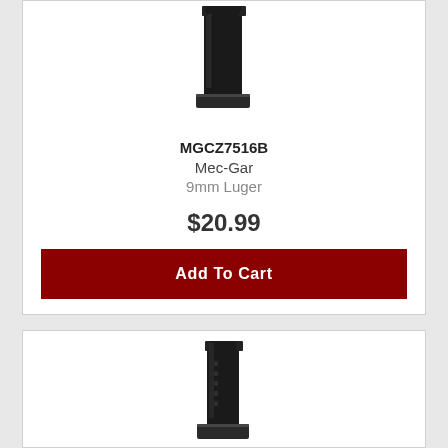[Figure (photo): Black metal firearm magazine, top portion shown, standing upright on white background]
MGCZ7516B
Mec-Gar
9mm Luger
$20.99
Add To Cart
[Figure (photo): Black metal firearm magazine, smaller, shown from the side, partially visible at bottom of page]